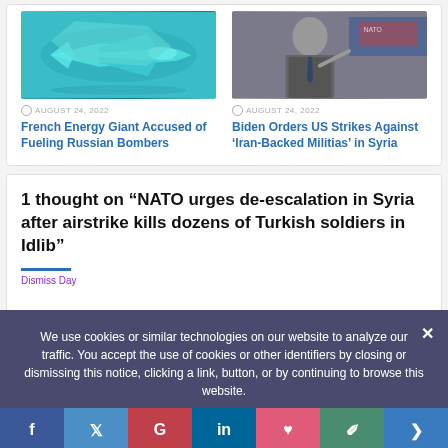[Figure (photo): Fighter jet (teal/cyan color) in flight]
[Figure (photo): Man in suit speaking at podium with NATO backdrop]
AUGUST 24, 2022
French Energy Giant Accused of Fueling Russian Bombers
AUGUST 24, 2022
Biden Orders US Strikes Against ‘Iran-Backed Militias’ in Syria
1 thought on “NATO urges de-escalation in Syria after airstrike kills dozens of Turkish soldiers in Idlib”
We use cookies or similar technologies on our website to analyze our traffic. You accept the use of cookies or other identifiers by closing or dismissing this notice, clicking a link, button, or by continuing to browse this website.